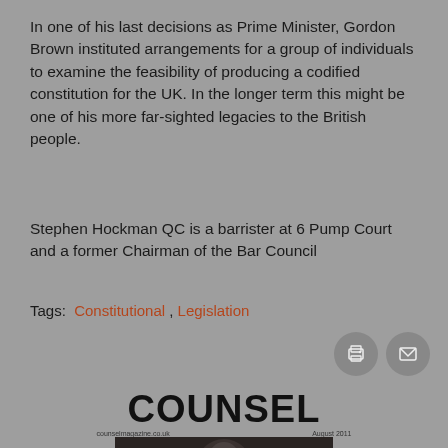In one of his last decisions as Prime Minister, Gordon Brown instituted arrangements for a group of individuals to examine the feasibility of producing a codified constitution for the UK. In the longer term this might be one of his more far-sighted legacies to the British people.
Stephen Hockman QC is a barrister at 6 Pump Court and a former Chairman of the Bar Council
Tags: Constitutional , Legislation
[Figure (logo): Counsel magazine logo with cover image showing a person]
[Figure (other): Print and email icon buttons]